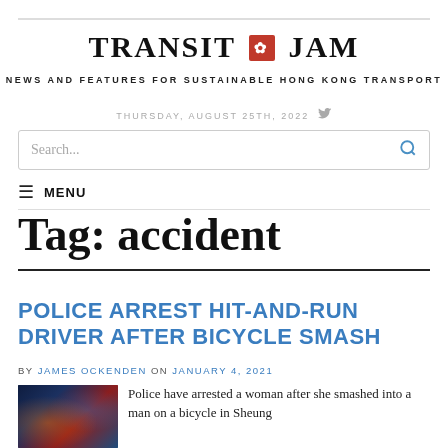TRANSIT JAM
NEWS AND FEATURES FOR SUSTAINABLE HONG KONG TRANSPORT
THURSDAY, AUGUST 25TH, 2022
Tag: accident
POLICE ARREST HIT-AND-RUN DRIVER AFTER BICYCLE SMASH
BY JAMES OCKENDEN ON JANUARY 4, 2021
Police have arrested a woman after she smashed into a man on a bicycle in Sheung